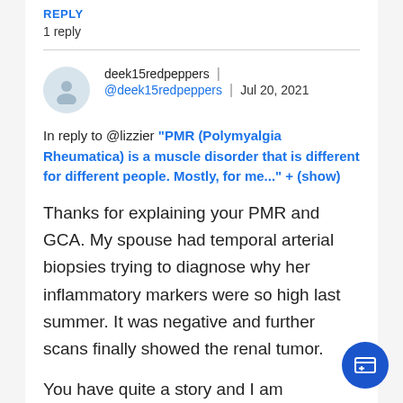REPLY
1 reply
deek15redpeppers | @deek15redpeppers | Jul 20, 2021
In reply to @lizzier "PMR (Polymyalgia Rheumatica) is a muscle disorder that is different for different people. Mostly, for me..." + (show)
Thanks for explaining your PMR and GCA. My spouse had temporal arterial biopsies trying to diagnose why her inflammatory markers were so high last summer. It was negative and further scans finally showed the renal tumor.
You have quite a story and I am impressed with your attitude and